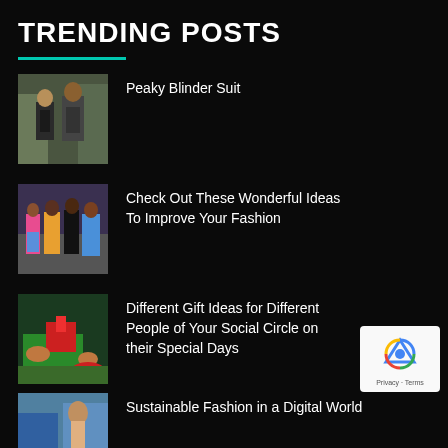TRENDING POSTS
Peaky Blinder Suit
Check Out These Wonderful Ideas To Improve Your Fashion
Different Gift Ideas for Different People of Your Social Circle on their Special Days
Sustainable Fashion in a Digital World